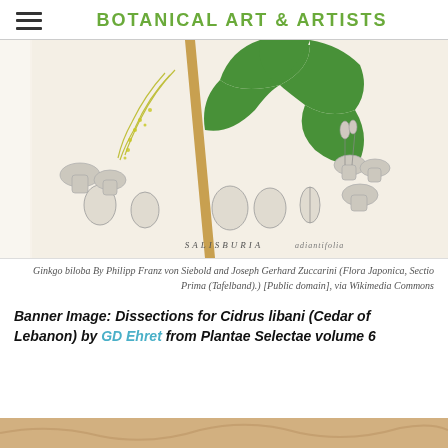BOTANICAL ART & ARTISTS
[Figure (illustration): Botanical illustration of Ginkgo biloba showing branches with fan-shaped leaves, catkins, and seeds/fruits. Scientific name label reads SALISBURIA adiantifolia at bottom. Detailed pencil and watercolor style plate.]
Ginkgo biloba By Philipp Franz von Siebold and Joseph Gerhard Zuccarini (Flora Japonica, Sectio Prima (Tafelband).) [Public domain], via Wikimedia Commons
Banner Image: Dissections for Cidrus libani (Cedar of Lebanon) by GD Ehret from Plantae Selectae volume 6
[Figure (photo): Partial view of another botanical illustration visible at the very bottom of the page, showing warm tan/brown tones.]